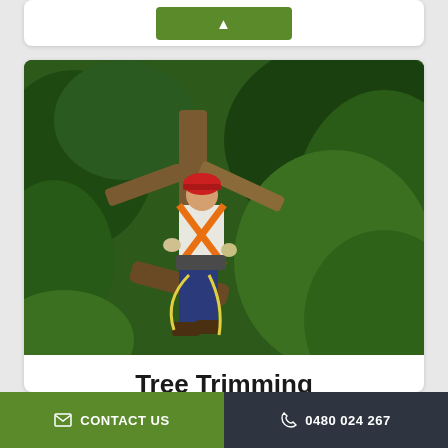[Figure (photo): Green button partially visible at top of a white card]
[Figure (photo): Tree trimmer / arborist wearing a red helmet, orange harness, and blue jeans climbing in a large tree with green foliage in the background]
Tree Trimming
Click Below For More Info
CONTACT US
0480 024 267